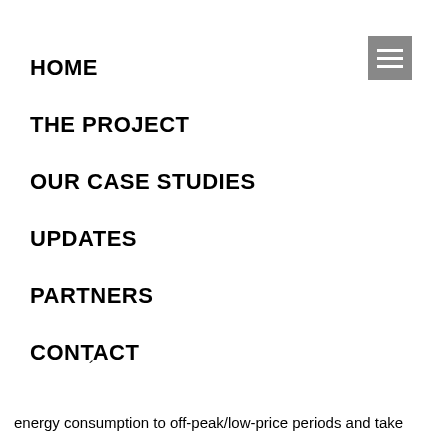[Figure (other): Hamburger menu icon button — three horizontal white lines on a grey square background]
HOME
THE PROJECT
OUR CASE STUDIES
UPDATES
PARTNERS
CONTACT
energy consumption to off-peak/low-price periods and take